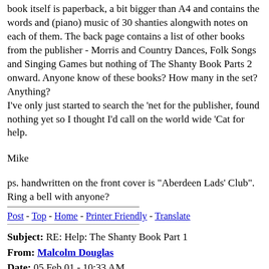book itself is paperback, a bit bigger than A4 and contains the words and (piano) music of 30 shanties alongwith notes on each of them. The back page contains a list of other books from the publisher - Morris and Country Dances, Folk Songs and Singing Games but nothing of The Shanty Book Parts 2 onward. Anyone know of these books? How many in the set? Anything?
I've only just started to search the 'net for the publisher, found nothing yet so I thought I'd call on the world wide 'Cat for help.
Mike
ps. handwritten on the front cover is "Aberdeen Lads' Club". Ring a bell with anyone?
Post - Top - Home - Printer Friendly - Translate
Subject: RE: Help: The Shanty Book Part 1
From: Malcolm Douglas
Date: 05 Feb 01 - 10:33 AM
Apparantly there was a "Part 2", published by Curwen in 1926. There's a set of both volumes available at the moment from a bookseller in Utrecht at around £25; a search at